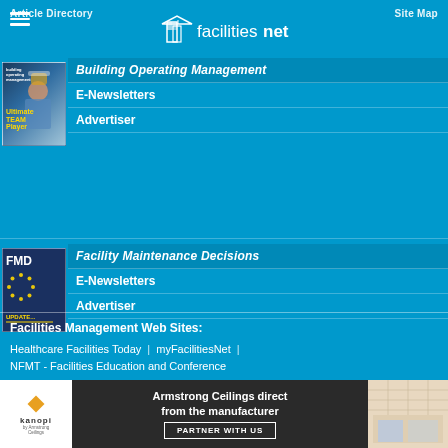Article Directory | Site Map
[Figure (logo): facilitiesnet logo with building icon]
[Figure (illustration): Building Operating Management magazine cover with man in hard hat - Ultimate Team Player]
Building Operating Management
E-Newsletters
Advertiser
[Figure (illustration): Facility Maintenance Decisions magazine cover - FMD Update with circular star pattern]
Facility Maintenance Decisions
E-Newsletters
Advertiser
Facilities Management Web Sites:
Healthcare Facilities Today | myFacilitiesNet | NFMT - Facilities Education and Conference
©1995-2022 TradePress - B2B Media Company
[Figure (advertisement): Armstrong Ceilings ad by kanopi - Armstrong Ceilings direct from the manufacturer - PARTNER WITH US]